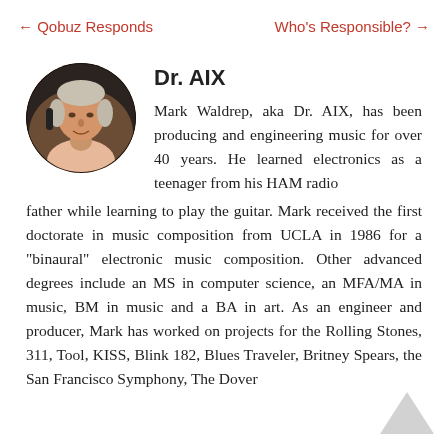← Qobuz Responds    Who's Responsible? →
Dr. AIX
[Figure (photo): Circular portrait photo of Mark Waldrep (Dr. AIX), an older man with light hair, smiling, in a recording studio environment.]
Mark Waldrep, aka Dr. AIX, has been producing and engineering music for over 40 years. He learned electronics as a teenager from his HAM radio father while learning to play the guitar. Mark received the first doctorate in music composition from UCLA in 1986 for a "binaural" electronic music composition. Other advanced degrees include an MS in computer science, an MFA/MA in music, BM in music and a BA in art. As an engineer and producer, Mark has worked on projects for the Rolling Stones, 311, Tool, KISS, Blink 182, Blues Traveler, Britney Spears, the San Francisco Symphony, The Dover